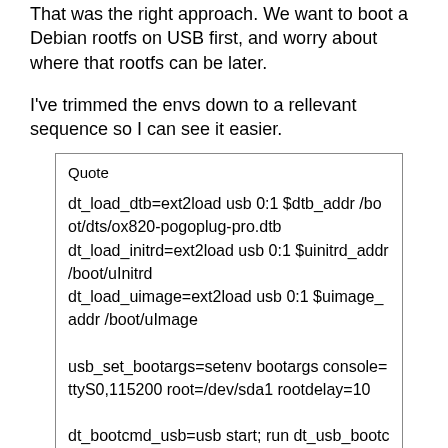That was the right approach. We want to boot a Debian rootfs on USB first, and worry about where that rootfs can be later.
I've trimmed the envs down to a rellevant sequence so I can see it easier.
Quote

dt_load_dtb=ext2load usb 0:1 $dtb_addr /boot/dts/ox820-pogoplug-pro.dtb
dt_load_initrd=ext2load usb 0:1 $uinitrd_addr /boot/uInitrd
dt_load_uimage=ext2load usb 0:1 $uimage_addr /boot/uImage

usb_set_bootargs=setenv bootargs console=ttyS0,115200 root=/dev/sda1 rootdelay=10

dt_bootcmd_usb=usb start; run dt_usb_bootcmd; usb stop; reset
dt_usb_bootcmd=run usb_set_bootargs; run dt_usb_boot
dt_usb_boot=run dt_load_uimage; run dt_load_initrd; run dt_load_dtb; run dt_bootm
dt_bootm=bootm $uimage_addr $uinitrd_addr $dtb_addr
There are few adjustments needed.
Power up, interrupt serial console and